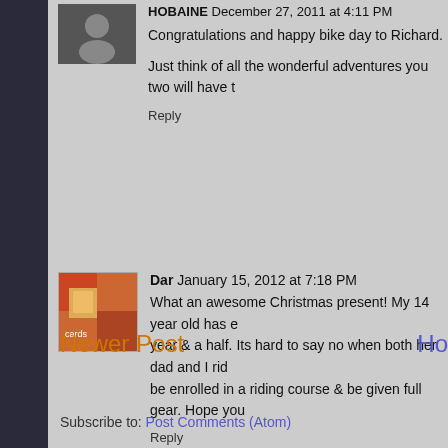Congratulations and happy bike day to Richard.
Just think of all the wonderful adventures you two will have t
Reply
Dar   January 15, 2012 at 7:18 PM
What an awesome Christmas present! My 14 year old has e year & a half. Its hard to say no when both her dad and I rid be enrolled in a riding course & be given full gear. Hope you
Reply
Enter Comment
Newer Post
Ho
Subscribe to: Post Comments (Atom)